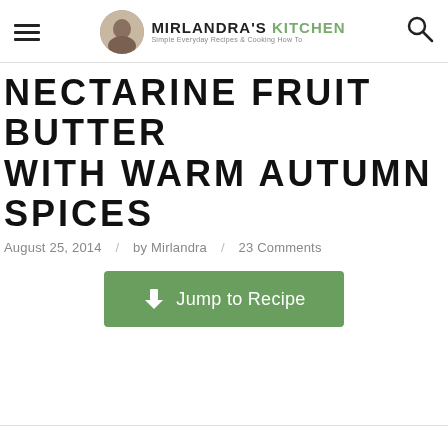MIRLANDRA'S KITCHEN — Simple Everyday Recipes & Cooking How To
NECTARINE FRUIT BUTTER WITH WARM AUTUMN SPICES
August 25, 2014 / by Mirlandra / 23 Comments
Jump to Recipe